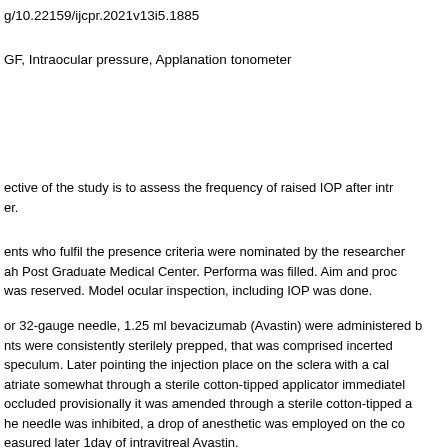g/10.22159/ijcpr.2021v13i5.1885
GF, Intraocular pressure, Applanation tonometer
ective of the study is to assess the frequency of raised IOP after intr er.
ents who fulfil the presence criteria were nominated by the researcher ah Post Graduate Medical Center. Performa was filled. Aim and proc was reserved. Model ocular inspection, including IOP was done.
or 32-gauge needle, 1.25 ml bevacizumab (Avastin) were administered b nts were consistently sterilely prepped, that was comprised incerted speculum. Later pointing the injection place on the sclera with a cal atriate somewhat through a sterile cotton-tipped applicator immediatel occluded provisionally it was amended through a sterile cotton-tipped a he needle was inhibited, a drop of anesthetic was employed on the co easured later 1day of intravitreal Avastin.